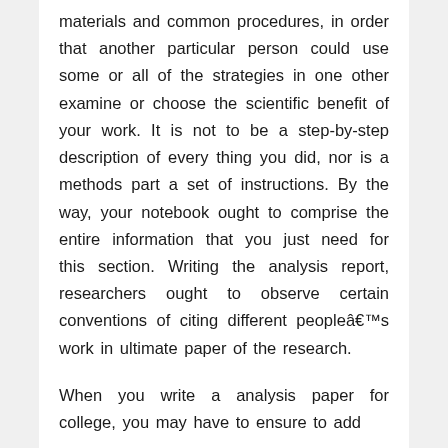materials and common procedures, in order that another particular person could use some or all of the strategies in one other examine or choose the scientific benefit of your work. It is not to be a step-by-step description of every thing you did, nor is a methods part a set of instructions. By the way, your notebook ought to comprise the entire information that you just need for this section. Writing the analysis report, researchers ought to observe certain conventions of citing different peopleâs work in ultimate paper of the research.
When you write a analysis paper for college, you may have to ensure to add